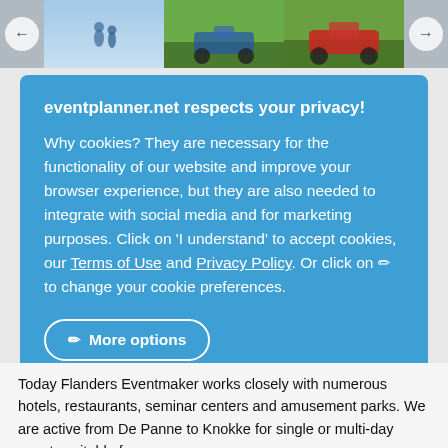[Figure (photo): Top image strip showing three photo panels with navigation arrows on left and right. Left panel shows two silhouette figures against blue sky. Middle panel shows people on an ATV/quad bike in green landscape. Right panel shows a red ATV/quad bike on a grassy hill.]
eventplanner.net respects your privacy!
Why cookies? They are necessary for the functionality of our website and improve your browser experience, but they are also needed to integrate with social media and for marketing purposes. Click on 'I understand' to accept cookies, our Terms of Use and Privacy Policy. Or click on ✏ to change your cookie preferences.
More options
Reject all
Accept all
Today Flanders Eventmaker works closely with numerous hotels, restaurants, seminar centers and amusement parks. We are active from De Panne to Knokke for single or multi-day events suitable for